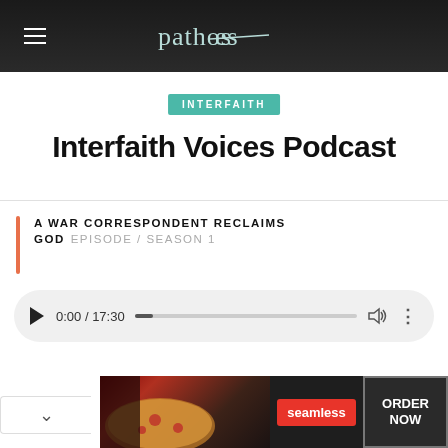patheos
INTERFAITH
Interfaith Voices Podcast
A WAR CORRESPONDENT RECLAIMS GOD EPISODE / SEASON 1
[Figure (screenshot): Audio player showing 0:00 / 17:30 with play button, progress bar, volume icon, and options menu]
[Figure (screenshot): Seamless food delivery advertisement with pizza image, Seamless logo, and ORDER NOW button]